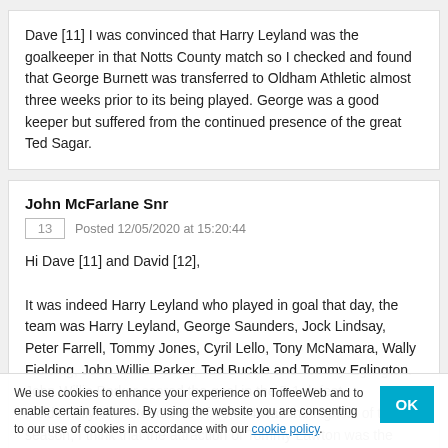Dave [11] I was convinced that Harry Leyland was the goalkeeper in that Notts County match so I checked and found that George Burnett was transferred to Oldham Athletic almost three weeks prior to its being played. George was a good keeper but suffered from the continued presence of the great Ted Sagar.
John McFarlane Snr
13   Posted 12/05/2020 at 15:20:44
Hi Dave [11] and David [12],

It was indeed Harry Leyland who played in goal that day, the team was Harry Leyland, George Saunders, Jock Lindsay, Peter Farrell, Tommy Jones, Cyril Lello, Tony McNamara, Wally Fielding, John Willie Parker, Ted Buckle and Tommy Eglington. John Willie Parker scored the goal in the 5-1 defeat. Incidentally, the attendance of 49,604 was the highest of the season, I think that the attraction of Tommy Lawton was the reason.
We use cookies to enhance your experience on ToffeeWeb and to enable certain features. By using the website you are consenting to our use of cookies in accordance with our cookie policy.